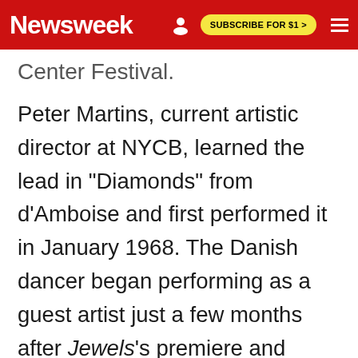Newsweek | SUBSCRIBE FOR $1 >
Center Festival.
Peter Martins, current artistic director at NYCB, learned the lead in "Diamonds" from d'Amboise and first performed it in January 1968. The Danish dancer began performing as a guest artist just a few months after Jewels's premiere and joined permanently as a principal in 1970. He has his own story about the Empire Hotel coffee shop, this one involving tuna fish sandwiches, a glass or two of Aquavit and playing hooky from a "Diamonds" rehearsal. Martins says it from a cue sheet...